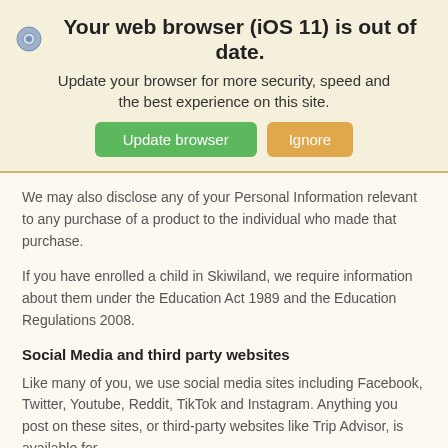[Figure (screenshot): Browser update banner with gear icon, bold title 'Your web browser (iOS 11) is out of date.', subtitle text, and two buttons: green 'Update browser' and orange 'Ignore']
We may also disclose any of your Personal Information relevant to any purchase of a product to the individual who made that purchase.
If you have enrolled a child in Skiwiland, we require information about them under the Education Act 1989 and the Education Regulations 2008.
Social Media and third party websites
Like many of you, we use social media sites including Facebook, Twitter, Youtube, Reddit, TikTok and Instagram. Anything you post on these sites, or third-party websites like Trip Advisor, is available for